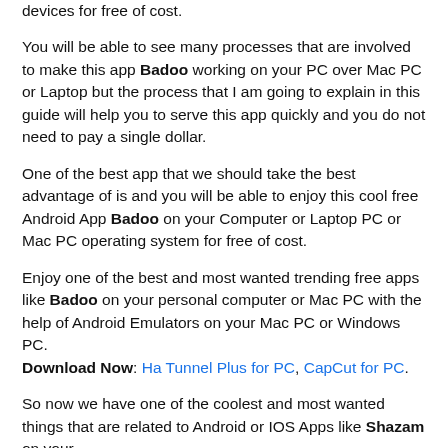devices for free of cost.
You will be able to see many processes that are involved to make this app Badoo working on your PC over Mac PC or Laptop but the process that I am going to explain in this guide will help you to serve this app quickly and you do not need to pay a single dollar.
One of the best app that we should take the best advantage of is and you will be able to enjoy this cool free Android App Badoo on your Computer or Laptop PC or Mac PC operating system for free of cost.
Enjoy one of the best and most wanted trending free apps like Badoo on your personal computer or Mac PC with the help of Android Emulators on your Mac PC or Windows PC. Download Now: Ha Tunnel Plus for PC, CapCut for PC.
So now we have one of the coolest and most wanted things that are related to Android or IOS Apps like Shazam on your